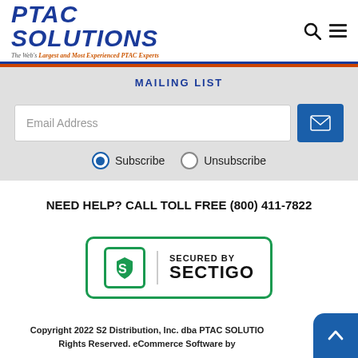[Figure (logo): PTAC SOLUTIONS logo with tagline 'The Web's Largest and Most Experienced PTAC Experts']
MAILING LIST
Email Address
Subscribe  Unsubscribe
NEED HELP? CALL TOLL FREE (800) 411-7822
[Figure (logo): Secured by Sectigo badge with green border and S logo]
Copyright 2022 S2 Distribution, Inc. dba PTAC SOLUTIONS All Rights Reserved. eCommerce Software by